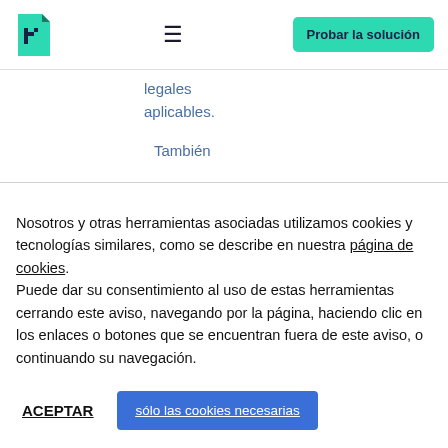[Figure (logo): Green folded corner page icon logo (teal/mint color with dark navy fold detail)]
≡
Probar la solución
legales aplicables.
También
Nosotros y otras herramientas asociadas utilizamos cookies y tecnologías similares, como se describe en nuestra página de cookies. Puede dar su consentimiento al uso de estas herramientas cerrando este aviso, navegando por la página, haciendo clic en los enlaces o botones que se encuentran fuera de este aviso, o continuando su navegación.
ACEPTAR
sólo las cookies necesarias